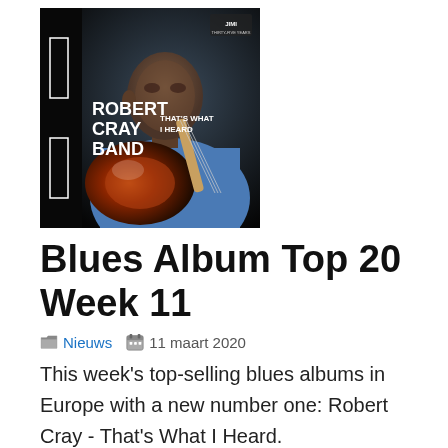[Figure (photo): Album cover of Robert Cray Band - That's What I Heard. Shows Robert Cray holding a sunburst guitar against a dark background, with bold white text reading ROBERT CRAY BAND and smaller text reading THAT'S WHAT I HEARD.]
Blues Album Top 20 Week 11
Nieuws   11 maart 2020
This week's top-selling blues albums in Europe with a new number one: Robert Cray - That's What I Heard.